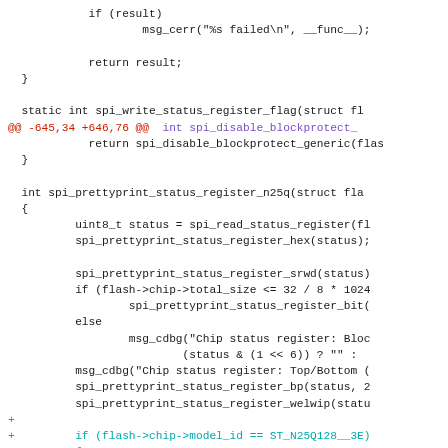[Figure (screenshot): Code diff/patch screenshot showing C source code with diff markers. Lines show spi_write_status_register_flag and spi_prettyprint_status_register_n25q functions with added lines marked with + in cyan.]